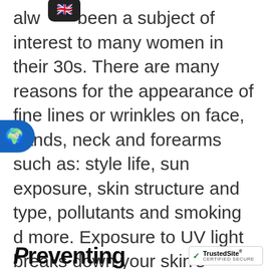always been a subject of interest to many women in their 30s. There are many reasons for the appearance of fine lines or wrinkles on face, hands, neck and forearms such as: style life, sun exposure, skin structure and type, pollutants and smoking and more. Exposure to UV light breaks down your skin's connective tissue — collagen and elastin fibers. The loss of collagen and elastin creates fine lines on the skin. Adding to that decreased production of natural oils dries your skin and causes wrinkles.
Preventing
[Figure (other): TrustedSite certified secure badge in bottom right corner]